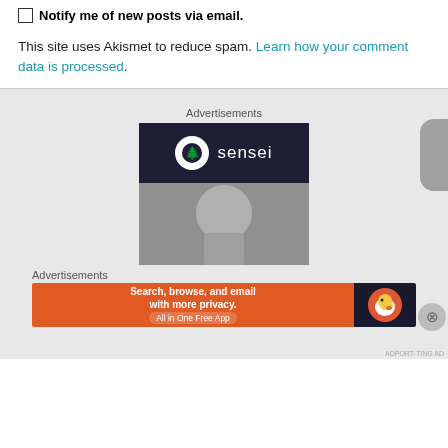Notify me of new posts via email.
This site uses Akismet to reduce spam. Learn how your comment data is processed.
Advertisements
[Figure (illustration): Sensei advertisement banner with dark navy background, white circle logo with bonsai tree icon, and 'sensei' text, plus a greyscale figure below.]
Advertisements
[Figure (illustration): DuckDuckGo advertisement: orange background on left with text 'Search, browse, and email with more privacy. All in One Free App', dark background on right with DuckDuckGo duck logo.]